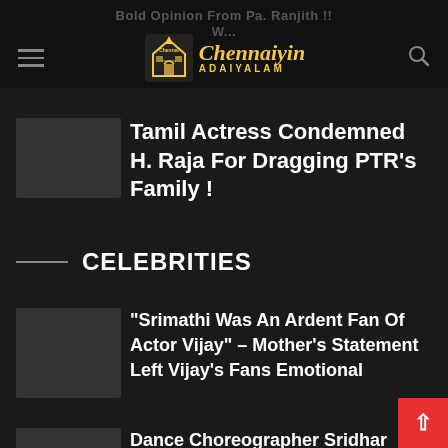Bold Opinion From Pa. Ranjith !! Chennaiyin ADAIYALAM
Tamil Actress Condemned H. Raja For Dragging PTR’s Family !
CELEBRITIES
“Srimathi Was An Ardent Fan Of Actor Vijay” – Mother’s Statement Left Vijay’s Fans Emotional
Dance Choreographer Sridhar Exposed The Employees Of Bharath Petroleum !!